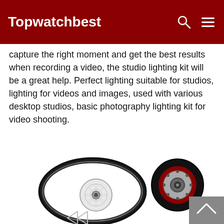Topwatchbest
capture the right moment and get the best results when recording a video, the studio lighting kit will be a great help. Perfect lighting suitable for studios, lighting for videos and images, used with various desktop studios, basic photography lighting kit for video shooting.
[Figure (photo): Product photo showing dryer drum belt, white pulley wheel, and black drum roller/idler pulley components, with back-navigation arrow icons at the bottom. A grey scroll-to-top button is visible at the bottom right.]